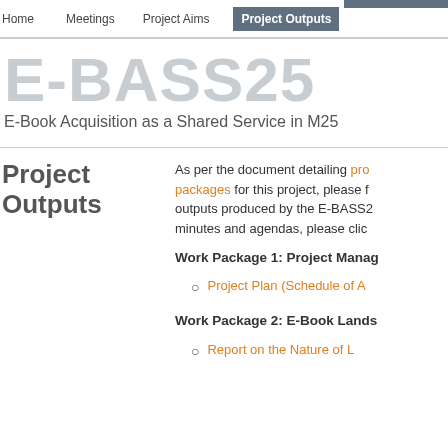Home   Meetings   Project Aims   Project Outputs
E-BASS25
E-Book Acquisition as a Shared Service in M25
Project Outputs
As per the document detailing pro packages for this project, please f outputs produced by the E-BASS2 minutes and agendas, please clic
Work Package 1: Project Manag
Project Plan (Schedule of A
Work Package 2: E-Book Lands
Report on the Nature of L